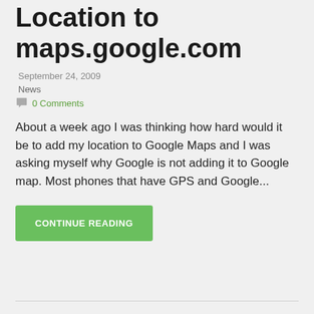Location to maps.google.com
September 24, 2009
News
0 Comments
About a week ago I was thinking how hard would it be to add my location to Google Maps and I was asking myself why Google is not adding it to Google map. Most phones that have GPS and Google...
CONTINUE READING